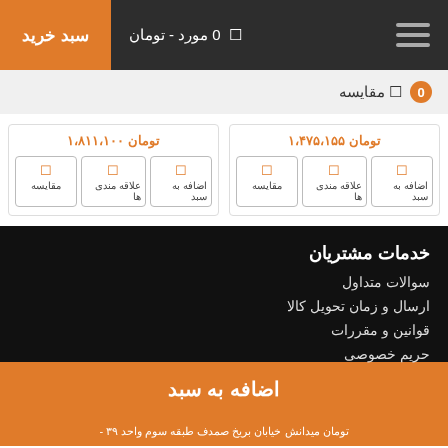0 مورد - تومان | سبد خرید
0 مقایسه
تومان ۱،۴۷۵،۱۵۵
تومان ۱،۸۱۱،۱۰۰
اضافه به سبد
علاقه مندی ها
مقایسه
اضافه به سبد
علاقه مندی ها
مقایسه
خدمات مشتریان
سوالات متداول
ارسال و زمان تحویل کالا
قوانین و مقررات
حریم خصوصی
اضافه به سبد
تومان میدانش خیابان بریخ صمدف طبقه سوم واحد ۳۹ -